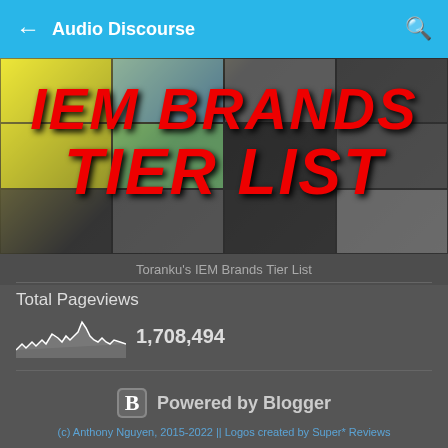Audio Discourse
[Figure (photo): Thumbnail image showing IEM Brands Tier List with red bold italic text overlay reading 'IEM BRANDS TIER LIST' on a collage of brand logos]
Toranku's IEM Brands Tier List
Total Pageviews 1,708,494
[Figure (continuous-plot): Small sparkline/area chart showing pageview history over time]
Powered by Blogger
(c) Anthony Nguyen, 2015-2022 || Logos created by Super* Reviews